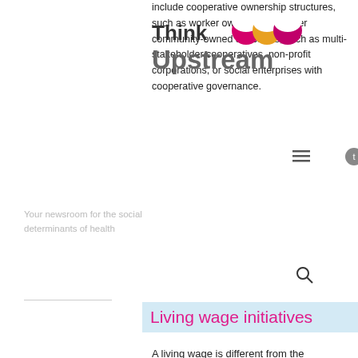[Figure (logo): Think Upstream logo with coloured semicircle decorations]
include cooperative ownership structures, such as worker ownership, or other community-owned structures, such as multi-stakeholder cooperatives, non-profit corporations, or social enterprises with cooperative governance.
Your newsroom for the social determinants of health
Living wage initiatives
A living wage is different from the provincially mandated minimum wage. Local living wage calculations take into account what it actually costs say, two parents raising two children to live in any given community. It factors in the cost of housing, child care, food, transportation, and bills like hydro, cell phones, and laundry. There is a growing movement of